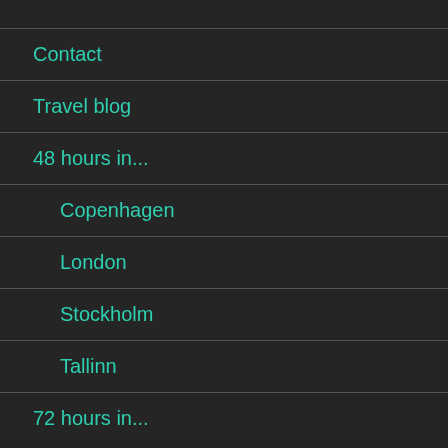Contact
Travel blog
48 hours in...
Copenhagen
London
Stockholm
Tallinn
72 hours in...